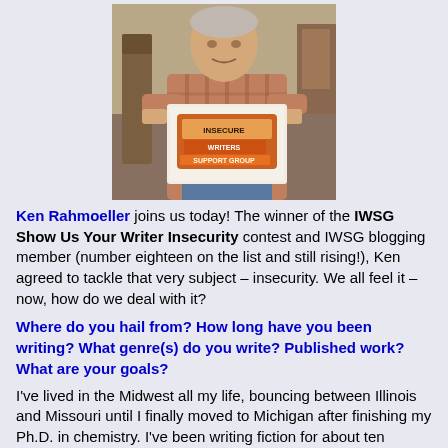[Figure (photo): An older man wearing a plaid shirt holding up a piece of paper with the IWSG (Insecure Writers Support Group) logo on it.]
Ken Rahmoeller joins us today! The winner of the IWSG Show Us Your Writer Insecurity contest and IWSG blogging member (number eighteen on the list and still rising!), Ken agreed to tackle that very subject – insecurity. We all feel it – now, how do we deal with it?
Where do you hail from? How long have you been writing? What genre(s) do you write? Published work? What are your goals?
I've lived in the Midwest all my life, bouncing between Illinois and Missouri until I finally moved to Michigan after finishing my Ph.D. in chemistry. I've been writing fiction for about ten